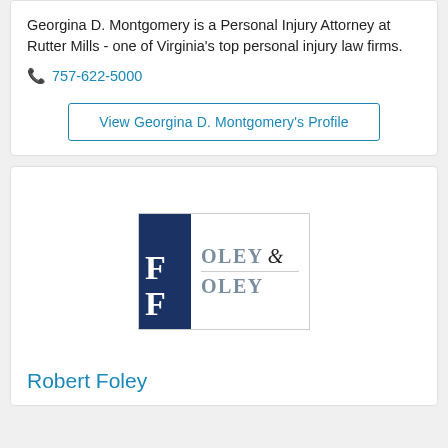Georgina D. Montgomery is a Personal Injury Attorney at Rutter Mills - one of Virginia's top personal injury law firms.
757-622-5000
View Georgina D. Montgomery's Profile
[Figure (logo): Foley & Foley law firm logo with dark blue square on left containing two large white F letters, and text FOLEY & FOLEY on the right]
Robert Foley